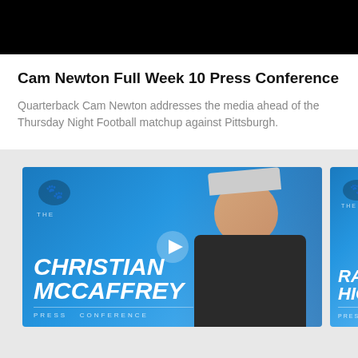[Figure (photo): Black bar at top representing video thumbnail area]
Cam Newton Full Week 10 Press Conference
Quarterback Cam Newton addresses the media ahead of the Thursday Night Football matchup against Pittsburgh.
[Figure (photo): Christian McCaffrey press conference thumbnail with Carolina Panthers branding on blue background]
[Figure (photo): Rasha Higgin (partially visible) press conference thumbnail with Carolina Panthers branding on blue background]